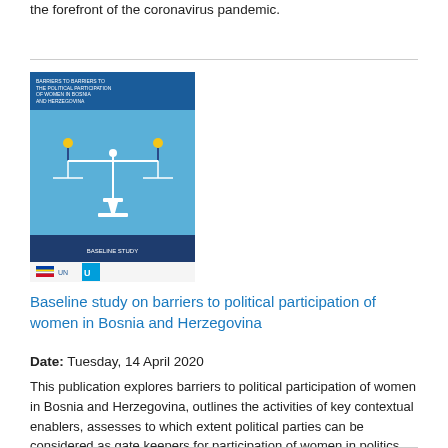the forefront of the coronavirus pandemic.
[Figure (illustration): Book cover thumbnail for 'Baseline study on barriers to political participation of women in Bosnia and Herzegovina' showing a balance scale with two figures and a blue background, with logos at the bottom.]
Baseline study on barriers to political participation of women in Bosnia and Herzegovina
Date: Tuesday, 14 April 2020
This publication explores barriers to political participation of women in Bosnia and Herzegovina, outlines the activities of key contextual enablers, assesses to which extent political parties can be considered as gate keepers for participation of women in politics, explores the entry points for promoting participation of women in political and public life, and provides a deeper analysis of media and the presentation of women in politics.